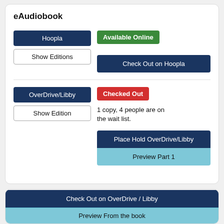eAudiobook
Hoopla
Show Editions
Available Online
Check Out on Hoopla
OverDrive/Libby
Show Edition
Checked Out
1 copy, 4 people are on the wait list.
Place Hold OverDrive/Libby
Preview Part 1
eBook
Show Editions
Available Online
Check Out on OverDrive / Libby
Preview From the book